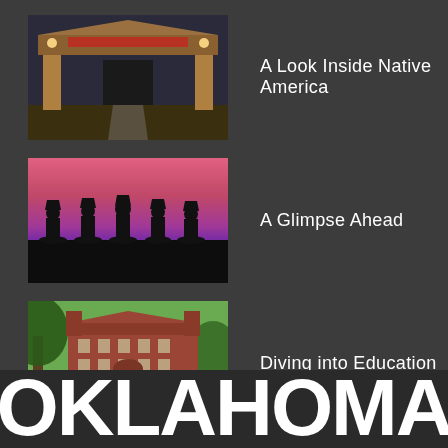[Figure (photo): Photo of a Native American building entrance/gateway with architectural details, illuminated at dusk]
A Look Inside Native America
[Figure (photo): Silhouettes of graduates in caps and gowns against a colorful pink and purple sunset sky]
A Glimpse Ahead
[Figure (photo): Red brick university building with trees in the foreground on a green lawn]
Diving into Education
OKLAHOMA